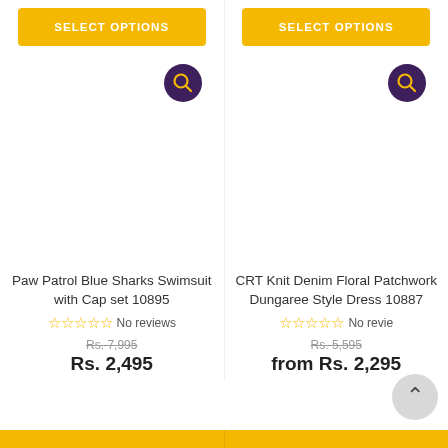SELECT OPTIONS
SELECT OPTIONS
[Figure (illustration): Search/zoom icon button (dark purple circle with magnifying glass) for product 1]
[Figure (illustration): Search/zoom icon button (dark purple circle with magnifying glass) for product 2]
Paw Patrol Blue Sharks Swimsuit with Cap set 10895
☆☆☆☆☆ No reviews
Rs. 7,995
Rs. 2,495
CRT Knit Denim Floral Patchwork Dungaree Style Dress 10887
☆☆☆☆☆ No reviews
Rs. 5,595
from Rs. 2,295